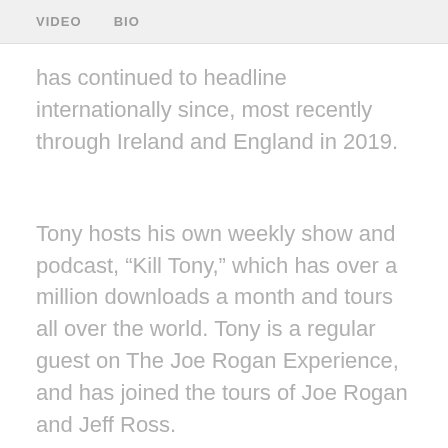VIDEO   BIO
has continued to headline internationally since, most recently through Ireland and England in 2019.
Tony hosts his own weekly show and podcast, “Kill Tony,” which has over a million downloads a month and tours all over the world. Tony is a regular guest on The Joe Rogan Experience, and has joined the tours of Joe Rogan and Jeff Ross.